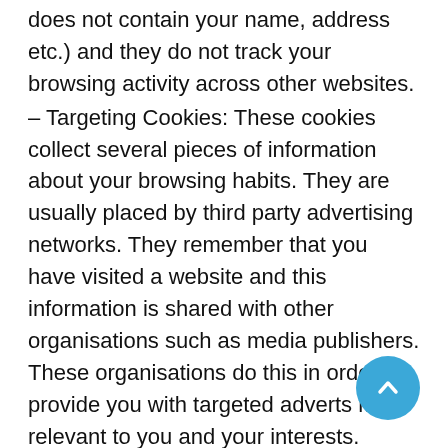does not contain your name, address etc.) and they do not track your browsing activity across other websites.
– Targeting Cookies: These cookies collect several pieces of information about your browsing habits. They are usually placed by third party advertising networks. They remember that you have visited a website and this information is shared with other organisations such as media publishers. These organisations do this in order to provide you with targeted adverts more relevant to you and your interests.
– Third Party Cookies: Please note that third parties (including, for example, advertising networks, social media networks, and providers of external services like web traffic analysis services) may also use cookies, over which we have no control. These cookies are likely to be